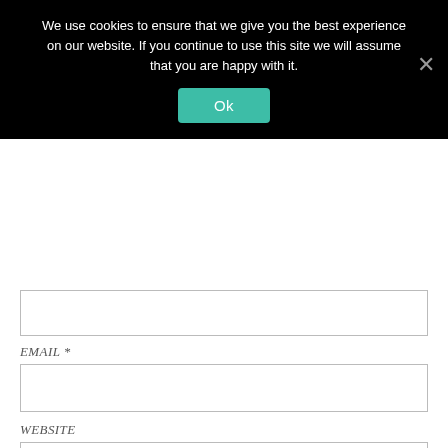We use cookies to ensure that we give you the best experience on our website. If you continue to use this site we will assume that you are happy with it.
Ok
EMAIL *
WEBSITE
SAVE MY NAME, EMAIL, AND WEBSITE IN THIS BROWSER FOR THE NEXT TIME I COMMENT.
POST COMMENT